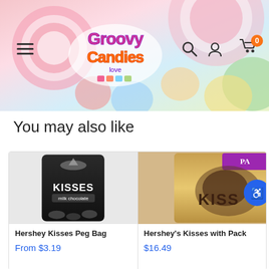Groovy Candies header with navigation: hamburger menu, logo, search, user, cart (0)
You may also like
[Figure (photo): Hershey Kisses Peg Bag product image - dark bag with KISSES branding]
Hershey Kisses Peg Bag
From $3.19
[Figure (photo): Hershey's Kisses with Pack product image - gold/tan bag partially visible]
Hershey's Kisses with Pack
$16.49